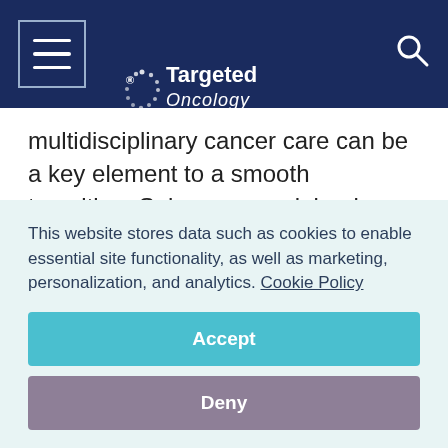Targeted Oncology
multidisciplinary cancer care can be a key element to a smooth transition, Soberman explained.
Durable Response Shown With Cilta-cel in Heavily-
This website stores data such as cookies to enable essential site functionality, as well as marketing, personalization, and analytics. Cookie Policy
Accept
Deny